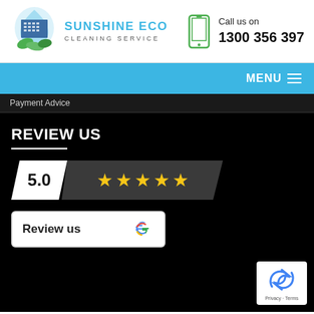[Figure (logo): Sunshine Eco Cleaning Service logo with building and green leaves icon]
Call us on
1300 356 397
MENU ☰
Payment Advice
REVIEW US
[Figure (infographic): 5.0 star rating badge with 5 yellow stars on dark background]
[Figure (infographic): Review us on Google button with Google G logo]
[Figure (infographic): reCAPTCHA badge with Privacy - Terms text]